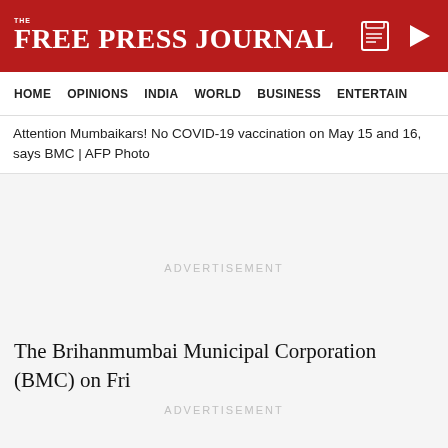THE FREE PRESS JOURNAL
HOME  OPINIONS  INDIA  WORLD  BUSINESS  ENTERTAIN
Attention Mumbaikars! No COVID-19 vaccination on May 15 and 16, says BMC | AFP Photo
[Figure (screenshot): Large advertisement placeholder area in light grey]
The Brihanmumbai Municipal Corporation (BMC) on Fri